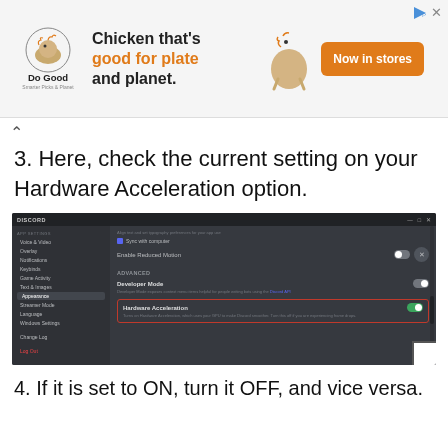[Figure (other): Advertisement banner for 'Do Good' brand — chicken-themed ad with text 'Chicken that's good for plate and planet.' and orange 'Now in stores' button]
3. Here, check the current setting on your Hardware Acceleration option.
[Figure (screenshot): Screenshot of Discord settings window showing the Appearance section with Hardware Acceleration setting toggled ON, highlighted with a red border]
4. If it is set to ON, turn it OFF, and vice versa.